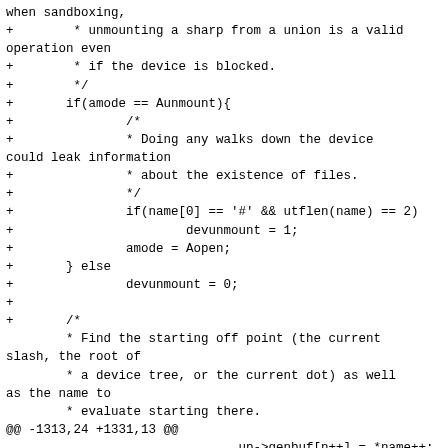when sandboxing,
+        * unmounting a sharp from a union is a valid operation even
+        * if the device is blocked.
+        */
+       if(amode == Aunmount){
+               /*
+               * Doing any walks down the device could leak information
+               * about the existence of files.
+               */
+               if(name[0] == '#' && utflen(name) == 2)
+                       devunmount = 1;
+               amode = Aopen;
+       } else
+               devunmount = 0;
+
+       /*
        * Find the starting off point (the current slash, the root of
        * a device tree, or the current dot) as well as the name to
        * evaluate starting there.
@@ -1313,24 +1331,13 @@
                               up->genbuf[n++] = *name++;
                       }
                       up->genbuf[n] = '\0';
-                       /*
-                        * noattach is sandboxing.
-                        *